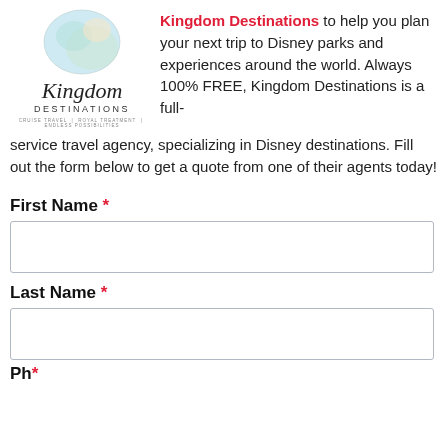[Figure (logo): Kingdom Destinations logo with circular watercolor globe and script text]
Kingdom Destinations to help you plan your next trip to Disney parks and experiences around the world. Always 100% FREE, Kingdom Destinations is a full-service travel agency, specializing in Disney destinations. Fill out the form below to get a quote from one of their agents today!
First Name *
Last Name *
Phone *